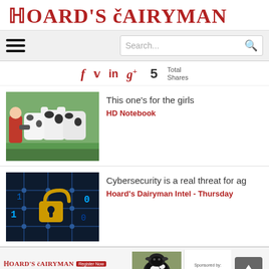Hoard's Dairyman
[Figure (screenshot): Navigation bar with hamburger menu and search box]
[Figure (infographic): Social share icons: Facebook, Twitter, LinkedIn, Google+, and 5 Total Shares]
[Figure (photo): Woman with tablet standing in front of dairy cows in a green field]
This one's for the girls
HD Notebook
[Figure (photo): Cybersecurity themed image with a padlock on a circuit board]
Cybersecurity is a real threat for ag
Hoard's Dairyman Intel - Thursday
[Figure (infographic): Advertisement banner: Hoard's Dairyman Webinar - Inflammation – Friend or Foe? Free Webinar – September 12, 2022 (Noon CDT). Sponsored by O&T Farms.]